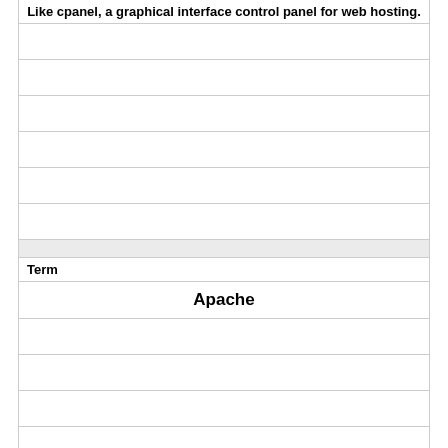Like cpanel, a graphical interface control panel for web hosting.
Term
Apache
Definition